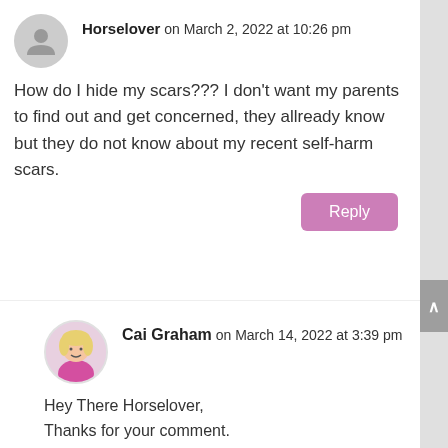Horselover on March 2, 2022 at 10:26 pm
How do I hide my scars??? I don't want my parents to find out and get concerned, they allready know but they do not know about my recent self-harm scars.
Reply
Cai Graham on March 14, 2022 at 3:39 pm
Hey There Horselover,
Thanks for your comment.
I know that it's really hard to